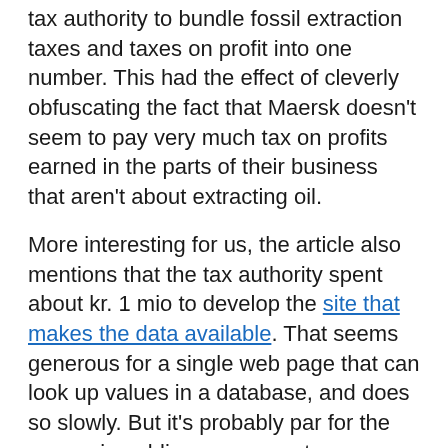tax authority to bundle fossil extraction taxes and taxes on profit into one number. This had the effect of cleverly obfuscating the fact that Maersk doesn't seem to pay very much tax on profits earned in the parts of their business that aren't about extracting oil.
More interesting for us, the article also mentions that the tax authority spent about kr. 1 mio to develop the site that makes the data available. That seems generous for a single web page that can look up values in a database, and does so slowly. But it's probably par for the course in public procurement.
The frustrating part is that the data could be released in a much more simple and useful way: Simply dump it out in an Excel spreadsheet (and a .csv for people that don't want to use Excel) and make it available for download. I have created these files from the data I've scraped, and they're about